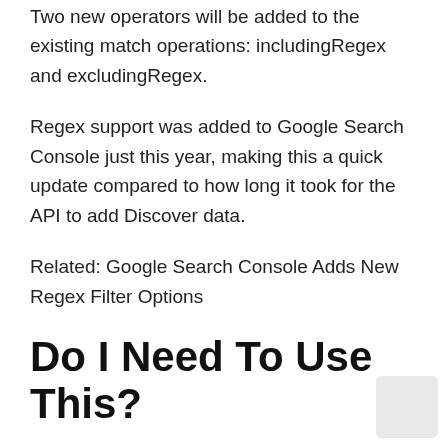Two new operators will be added to the existing match operations: includingRegex and excludingRegex.
Regex support was added to Google Search Console just this year, making this a quick update compared to how long it took for the API to add Discover data.
Related: Google Search Console Adds New Regex Filter Options
Do I Need To Use This?
Are you reading this as someone who doesn't use the Search Analytics API and you're